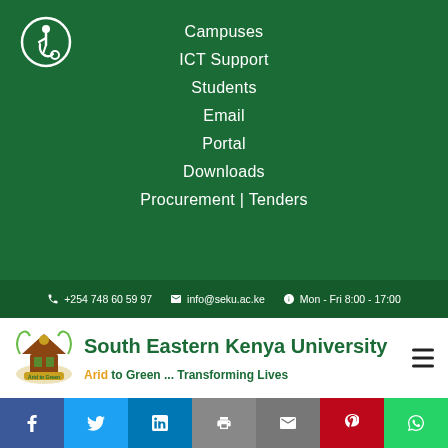[Figure (logo): Accessibility icon - person in wheelchair, white on dark green circle outline]
Campuses
ICT Support
Students
Email
Portal
Downloads
Procurement | Tenders
+254 748 60 59 97   info@seku.ac.ke   Mon - Fri 8:00 - 17:00
[Figure (logo): South Eastern Kenya University coat of arms logo]
South Eastern Kenya University
Arid to Green ... Transforming Lives
[Figure (other): Social media share buttons: Facebook, Twitter, LinkedIn, Print, Email, Pinterest, WhatsApp]